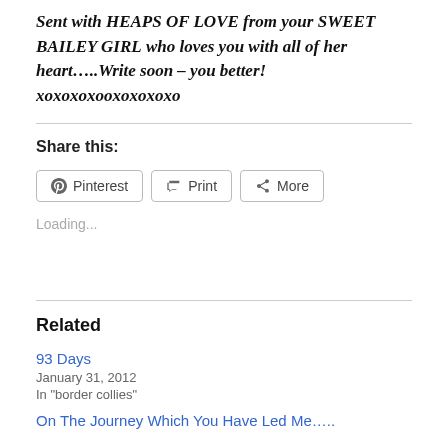Sent with HEAPS OF LOVE from your SWEET BAILEY GIRL who loves you with all of her heart.....Write soon – you better! xoxoxoxooxoxoxoxo
Share this:
[Figure (other): Share buttons: Pinterest, Print, More]
Loading...
Related
93 Days
January 31, 2012
In "border collies"
On The Journey Which You Have Led Me…..